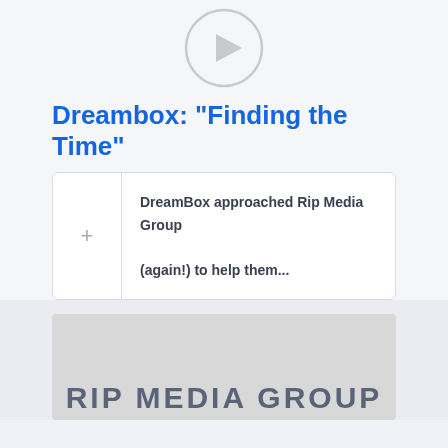[Figure (other): Play button circle icon at the top of the page]
Dreambox: "Finding the Time"
DreamBox approached Rip Media Group (again!) to help them...
[Figure (logo): RIP MEDIA GROUP logo on grey background, partially visible at bottom]